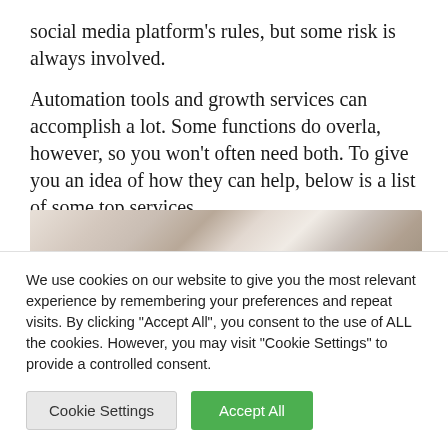social media platform's rules, but some risk is always involved.
Automation tools and growth services can accomplish a lot. Some functions do overla, however, so you won't often need both. To give you an idea of how they can help, below is a list of some top services.
[Figure (photo): Blurred close-up photo showing hands, warm and cool tones, out of focus background]
We use cookies on our website to give you the most relevant experience by remembering your preferences and repeat visits. By clicking "Accept All", you consent to the use of ALL the cookies. However, you may visit "Cookie Settings" to provide a controlled consent.